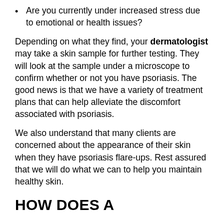Are you currently under increased stress due to emotional or health issues?
Depending on what they find, your dermatologist may take a skin sample for further testing. They will look at the sample under a microscope to confirm whether or not you have psoriasis. The good news is that we have a variety of treatment plans that can help alleviate the discomfort associated with psoriasis.
We also understand that many clients are concerned about the appearance of their skin when they have psoriasis flare-ups. Rest assured that we will do what we can to help you maintain healthy skin.
HOW DOES A